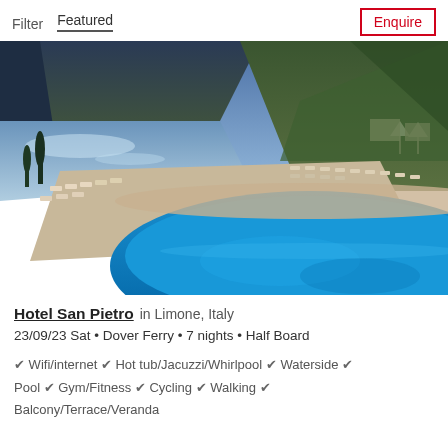Filter  Featured  Enquire
[Figure (photo): Aerial/elevated view of Hotel San Pietro pool area overlooking Lake Garda in Limone, Italy. Large curved blue swimming pool in foreground with lounge chairs along the deck, steep mountain and lake in background.]
Hotel San Pietro in Limone, Italy
23/09/23 Sat • Dover Ferry • 7 nights • Half Board
Wifi/internet
Hot tub/Jacuzzi/Whirlpool
Waterside
Pool
Gym/Fitness
Cycling
Walking
Balcony/Terrace/Veranda